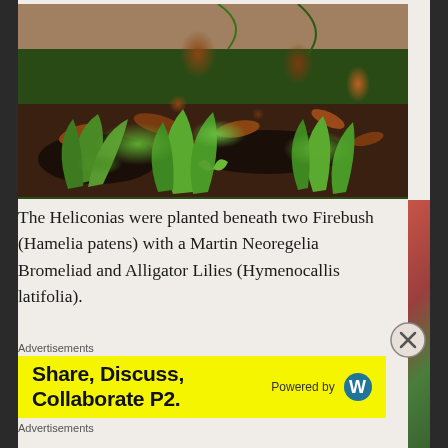[Figure (photo): Garden ground-level photo showing Heliconia plants and tropical foliage including green lance-shaped leaves and dried brown leaves on dark soil mulch]
The Heliconias were planted beneath two Firebush (Hamelia patens) with a Martin Neoregelia Bromeliad and Alligator Lilies (Hymenocallis latifolia).
Advertisements
[Figure (other): Yellow advertisement banner reading 'Share, Discuss, Collaborate P2.' with 'Powered by' and WordPress logo on the right]
Advertisements